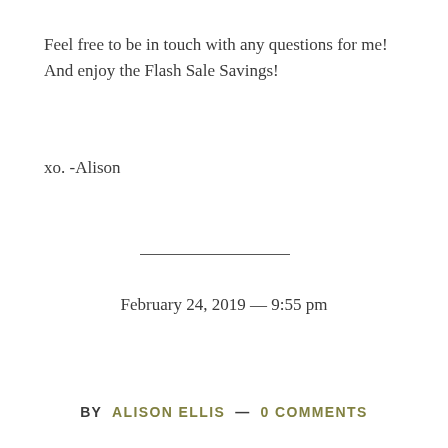Feel free to be in touch with any questions for me! And enjoy the Flash Sale Savings!
xo. -Alison
February 24, 2019 — 9:55 pm
BY ALISON ELLIS — 0 COMMENTS